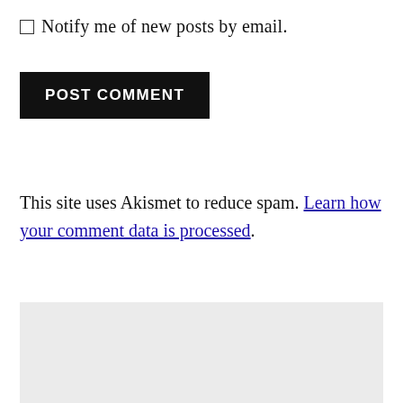☐ Notify me of new posts by email.
POST COMMENT
This site uses Akismet to reduce spam. Learn how your comment data is processed.
[Figure (other): Gray background box at the bottom of the page]